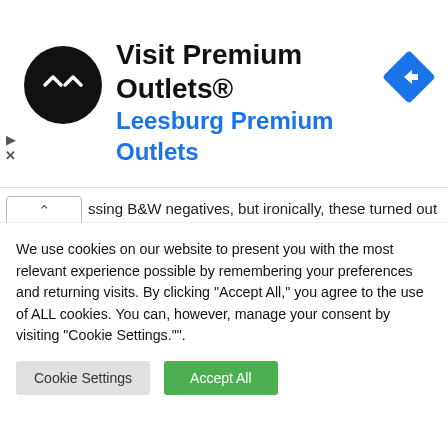[Figure (screenshot): Advertisement banner for Premium Outlets with circular black logo containing white double-arrow chevron symbol, text 'Visit Premium Outlets®' in bold black and 'Leesburg Premium Outlets' in blue, and a blue diamond navigation arrow icon on the right.]
ssing B&W negatives, but ironically, these turned out completely fine.
[Figure (photo): Black and white film strip negatives showing multiple photographic frames arranged in two rows, depicting people and scenes.]
We use cookies on our website to present you with the most relevant experience possible by remembering your preferences and returning visits. By clicking "Accept All," you agree to the use of ALL cookies. You can, however, manage your consent by visiting "Cookie Settings."".
Cookie Settings | Accept All